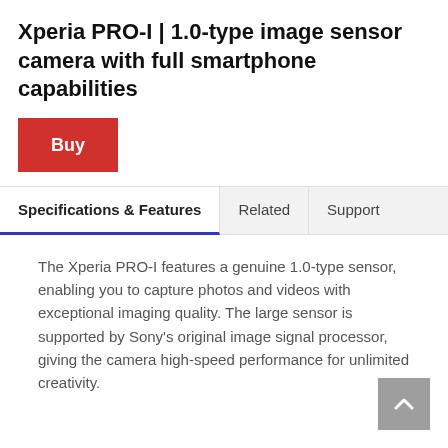Xperia PRO-I | 1.0-type image sensor camera with full smartphone capabilities
[Figure (other): Red 'Buy' button]
Specifications & Features | Related | Support
The Xperia PRO-I features a genuine 1.0-type sensor, enabling you to capture photos and videos with exceptional imaging quality. The large sensor is supported by Sony's original image signal processor, giving the camera high-speed performance for unlimited creativity.